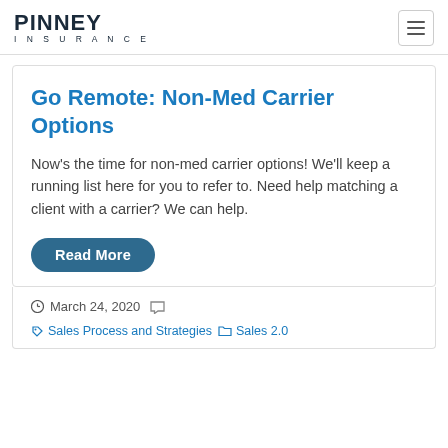PINNEY INSURANCE
Go Remote: Non-Med Carrier Options
Now's the time for non-med carrier options! We'll keep a running list here for you to refer to. Need help matching a client with a carrier? We can help.
Read More
March 24, 2020  Sales Process and Strategies  Sales 2.0